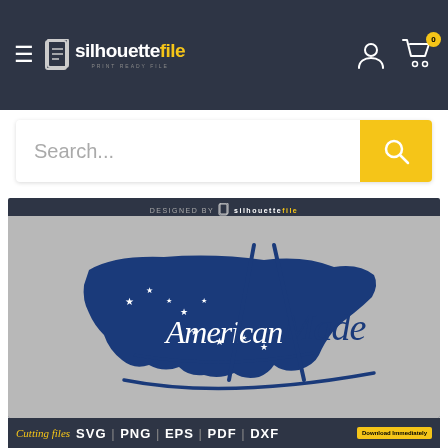silhouettefile - PRINT READY FILE
Search...
[Figure (screenshot): Product design screenshot showing 'American Made' cursive text overlaid on a blue silhouette of the United States map, with stars, on a gray textile background. Watermark 'DESIGNED BY silhouettefile PRINT READY FILE' at top.]
Cutting files SVG | PNG | EPS | PDF | DXF